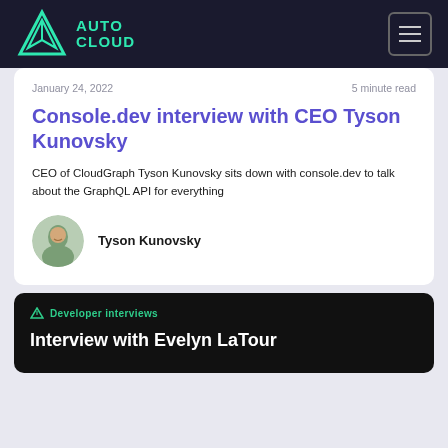AutoCloud
January 24, 2022    5 minute read
Console.dev interview with CEO Tyson Kunovsky
CEO of CloudGraph Tyson Kunovsky sits down with console.dev to talk about the GraphQL API for everything
Tyson Kunovsky
[Figure (screenshot): Dark background card showing 'Developer interviews' tag in green and headline 'Interview with Evelyn LaTour']